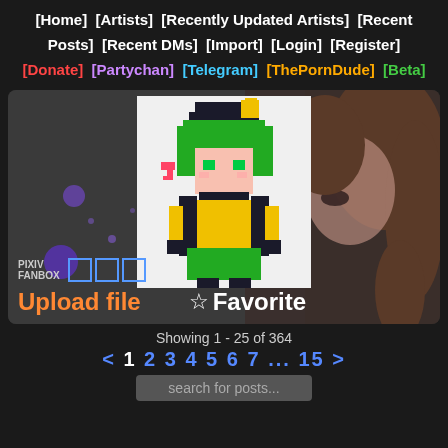[Home] [Artists] [Recently Updated Artists] [Recent Posts] [Recent DMs] [Import] [Login] [Register] [Donate] [Partychan] [Telegram] [ThePornDude] [Beta]
[Figure (screenshot): Artist profile card with pixel art avatar of a green-haired anime character in yellow outfit, background showing partial anime face, PIXIV FANBOX label with three blue boxes, Upload file button and Favorite button]
Showing 1 - 25 of 364
< 1 2 3 4 5 6 7 ... 15 >
search for posts...